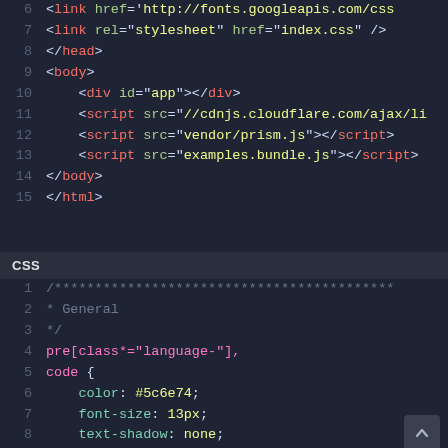[Figure (screenshot): Code editor screenshot showing HTML lines 6-15: link tags, head close, body, div, script tags, body close, html close]
CSS
[Figure (screenshot): Code editor screenshot showing CSS lines 1-9: comment block, General, pre and code selectors with color #5c6e74, font-size 13px, text-shadow none, font-family Consolas Monaco Andale Mono]